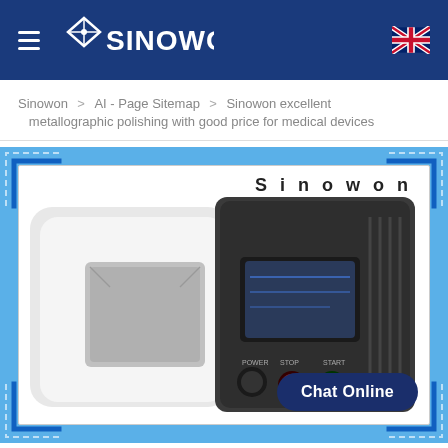Sinowon [logo] [hamburger menu] [UK flag]
Sinowon > AI - Page Sitemap > Sinowon excellent metallographic polishing with good price for medical devices
[Figure (photo): Metallographic polishing machine by Sinowon, white and dark gray, with a small LCD screen and red/green buttons, shown in a decorative blue-cornered frame with 'Sinowon' watermark and a 'Chat Online' button.]